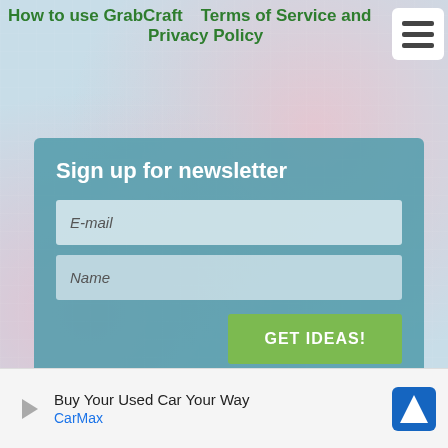How to use GrabCraft   Terms of Service and Privacy Policy
Sign up for newsletter
[Figure (screenshot): Newsletter signup form with email and name fields, and a green GET IDEAS! button, on a teal background panel]
NOT AN OFFICIAL MINECRAFT PRODUCT. NOT APPROVED BY OR ASSOCIATED WITH MOJANG.
Buy Your Way Used Car Your Way CarMax